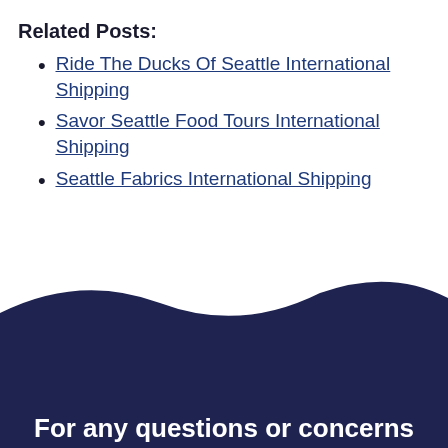Related Posts:
Ride The Ducks Of Seattle International Shipping
Savor Seattle Food Tours International Shipping
Seattle Fabrics International Shipping
For any questions or concerns